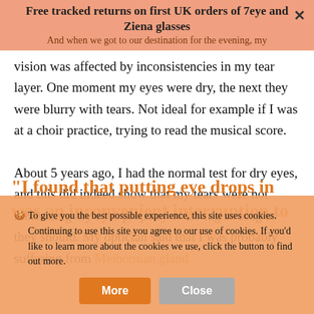Free tracked returns on first UK orders of 7eye and Ziena glasses
And when we got to our destination for the evening, my vision was affected by inconsistencies in my tear layer. One moment my eyes were dry, the next they were blurry with tears. Not ideal for example if I was at a choir practice, trying to read the musical score.

About 5 years ago, I had the normal test for dry eyes, and this did indeed show that my tears were not lubricating my eyes properly or lasting as long as they should. My optician said that I was probably suffering from Meibomian gland
To give you the best possible experience, this site uses cookies. Continuing to use this site you agree to our use of cookies. If you'd like to learn more about the cookies we use, click the button to find out more.
"I found that putting eye drops in was an inconvenient interruption to